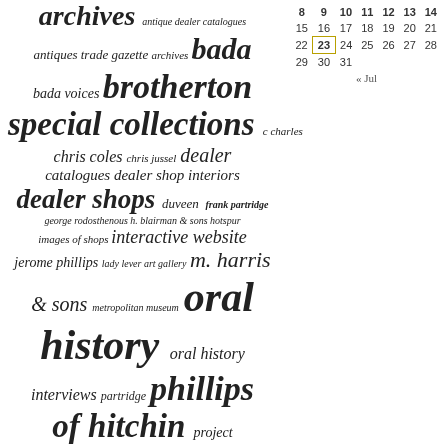[Figure (other): Tag cloud / word cloud with terms related to antiques, archives, dealer catalogues, oral history, and related topics. Terms vary in font size indicating frequency or importance.]
|  |  |  |  |  |  |  |
| --- | --- | --- | --- | --- | --- | --- |
| 8 | 9 | 10 | 11 | 12 | 13 | 14 |
| 15 | 16 | 17 | 18 | 19 | 20 | 21 |
| 22 | 23 | 24 | 25 | 26 | 27 | 28 |
| 29 | 30 | 31 |  |  |  |  |
|  | « Jul |  |  |  |  |  |